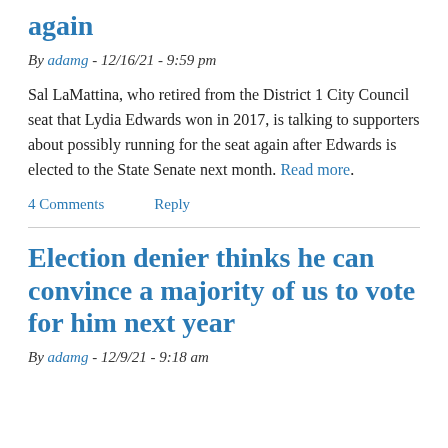again
By adamg - 12/16/21 - 9:59 pm
Sal LaMattina, who retired from the District 1 City Council seat that Lydia Edwards won in 2017, is talking to supporters about possibly running for the seat again after Edwards is elected to the State Senate next month. Read more.
4 Comments   Reply
Election denier thinks he can convince a majority of us to vote for him next year
By adamg - 12/9/21 - 9:18 am